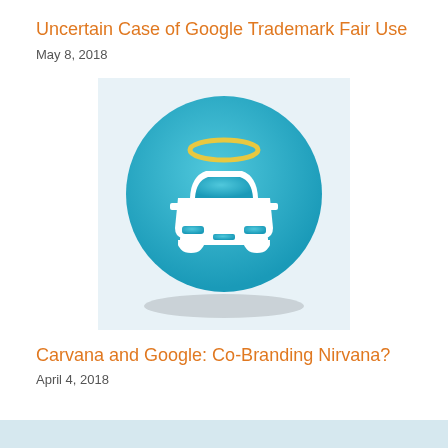Uncertain Case of Google Trademark Fair Use
May 8, 2018
[Figure (illustration): Carvana logo: a white car icon with a golden halo above it, on a circular teal/blue gradient background, with a light gray square backdrop]
Carvana and Google: Co-Branding Nirvana?
April 4, 2018